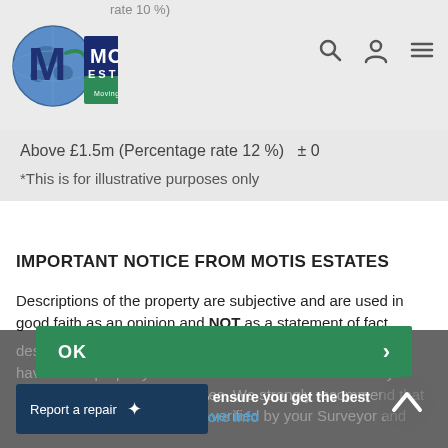Motis Estates — header with logo and navigation icons
Above £1.5m (Percentage rate 12 %)  ± 0
*This is for illustrative purposes only
IMPORTANT NOTICE FROM MOTIS ESTATES
Descriptions of the property are subjective and are used in good faith as an opinion and NOT as a statement of fact. Please make further specific enquiries to ensure that our descriptions are likely to match any expectations you may have of the property. Please note we have not tested any services, equipment or facilities. Purchasers must satisfy themselves by inspection or otherwise. We strongly recommend that all information we provide be verified by your Surveyor and
OK
This website uses cookies to ensure you get the best experience on our website More info
Report a repair